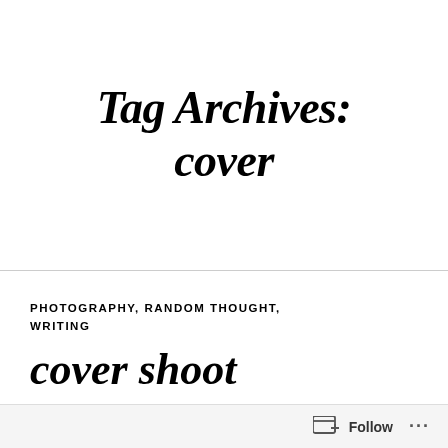Tag Archives: cover
PHOTOGRAPHY, RANDOM THOUGHT, WRITING
cover shoot
MARCH 21, 2009  ANDREWRSLATON ADVICE, AMA, AMERICAN MOTORCYCLIST MAGAZINE, COVER, GLOBAL
Follow